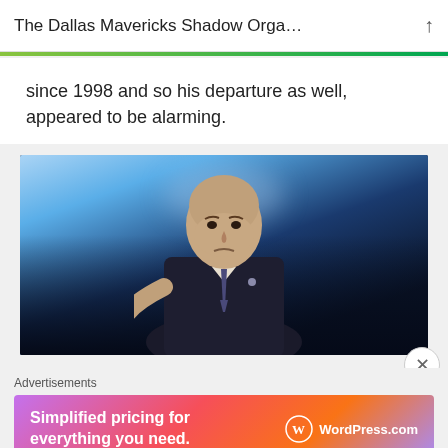The Dallas Mavericks Shadow Orga...
since 1998 and so his departure as well, appeared to be alarming.
[Figure (photo): A bald man in a dark suit and striped tie pointing toward the camera against a blurred blue basketball arena background.]
Advertisements
[Figure (screenshot): WordPress.com advertisement banner reading 'Simplified pricing for everything you need.']